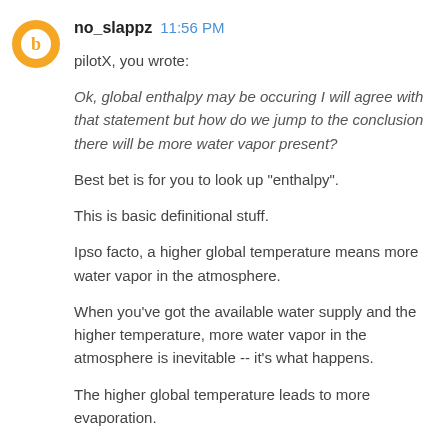no_slappz 11:56 PM
pilotX, you wrote:
Ok, global enthalpy may be occuring I will agree with that statement but how do we jump to the conclusion there will be more water vapor present?
Best bet is for you to look up "enthalpy".
This is basic definitional stuff.
Ipso facto, a higher global temperature means more water vapor in the atmosphere.
When you've got the available water supply and the higher temperature, more water vapor in the atmosphere is inevitable -- it's what happens.
The higher global temperature leads to more evaporation.